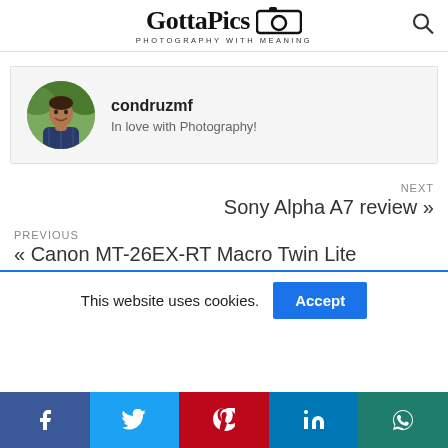GottaPics PHOTOGRAPHY WITH MEANING
[Figure (photo): Author profile card with circular avatar photo of a man in a plaid shirt outdoors, username condruzmf, bio: In love with Photography!]
condruzmf
In love with Photography!
NEXT
Sony Alpha A7 review »
PREVIOUS
« Canon MT-26EX-RT Macro Twin Lite
This website uses cookies.  Accept
[Figure (infographic): Social media sharing bar with Facebook, Twitter, Pinterest, LinkedIn, and WhatsApp icons]